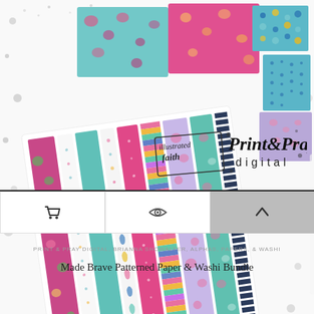[Figure (photo): Product photo showing colorful patterned paper and washi tape bundle. Multiple sheets of decorative paper in teal, pink, lavender, and multicolor patterns with floral designs, raindrops, stripes, and abstract marks displayed in a fanned/spread arrangement. Also shown are sheets with colorful raindrop stickers and striped washi tape samples.]
[Figure (logo): Illustrated Faith logo (handwritten style in a box) next to Print & Pray Digital logo in bold handwritten font with 'digital' in spaced sans-serif below.]
PRINT & PRAY DIGITAL, BRIANNA SHOWALTER, ALPHAS, PAPERS, & WASHI
Made Brave Patterned Paper & Washi Bundle